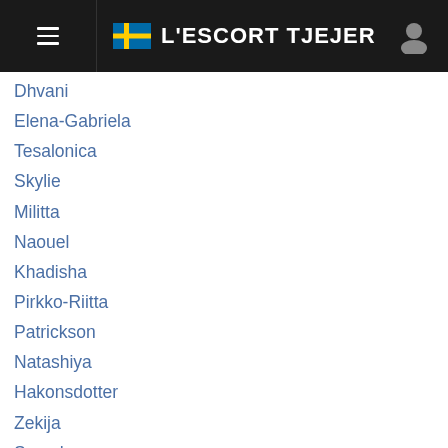L'ESCORT TJEJER
Dhvani
Elena-Gabriela
Tesalonica
Skylie
Militta
Naouel
Khadisha
Pirkko-Riitta
Patrickson
Natashiya
Hakonsdotter
Zekija
Sarezh
Némeh
Isla
Tory
Xiara
Efza
Nkangom
Fathi
Weeda
Lookhana